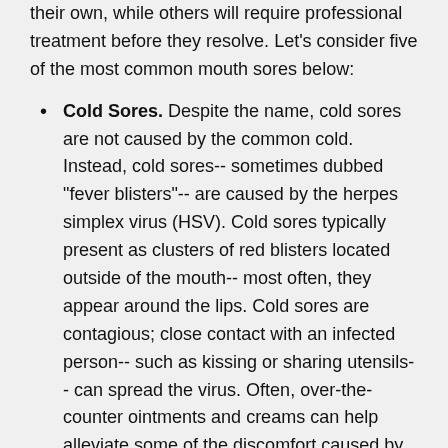their own, while others will require professional treatment before they resolve. Let's consider five of the most common mouth sores below:
Cold Sores. Despite the name, cold sores are not caused by the common cold. Instead, cold sores-- sometimes dubbed "fever blisters"-- are caused by the herpes simplex virus (HSV). Cold sores typically present as clusters of red blisters located outside of the mouth-- most often, they appear around the lips. Cold sores are contagious; close contact with an infected person-- such as kissing or sharing utensils-- can spread the virus. Often, over-the-counter ointments and creams can help alleviate some of the discomfort caused by cold sores. If outbreaks become frequent, however, a prescription medication might be necessary.
Canker Sores. Although canker sores are sometimes